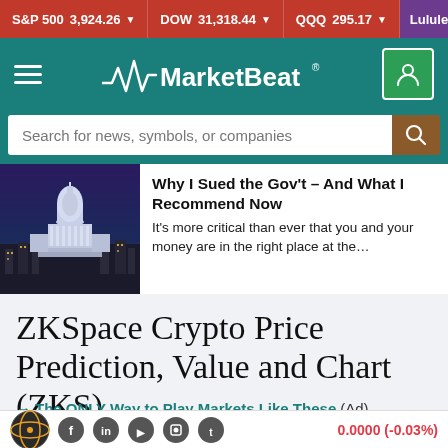S&P 500 3,924.26 ▼  DOW 31,318.44 ▼  QQQ 295.17 ▼  Lululemon S
[Figure (logo): MarketBeat logo with pulse/heartbeat icon on teal navigation bar with hamburger menu and user icon]
Search for news, symbols, or companies
[Figure (photo): US Capitol building at dusk/night with city lights]
Why I Sued the Gov't – And What I Recommend Now
It's more critical than ever that you and your money are in the right place at the...
ZKSpace Crypto Price Prediction, Value and Chart (ZKS)
→ The ONLY Way to Play Markets Like These (Ad)
0.0000 (-0.03%)